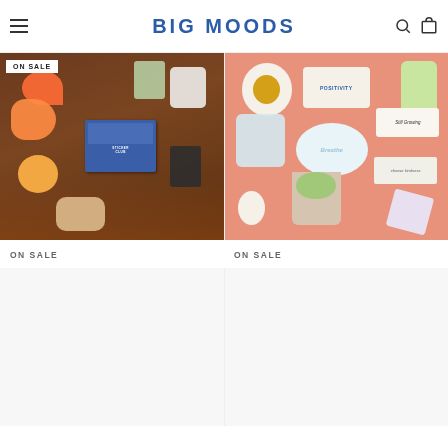BIG MOODS
[Figure (photo): Halloween-themed sticker collection with a blue sticker club box, various autumn/Halloween stickers including a gnome, pumpkins, ghost, and more on a wooden background with leaves. Has 'ON SALE' badge.]
[Figure (photo): Positivity-themed sticker collection on a salmon/peach background including stickers reading 'Positivity', 'Still Growing', 'Be Kind', 'Breathe', 'Chose Kindness', succulents, sunflower, and more.]
ON SALE
ON SALE